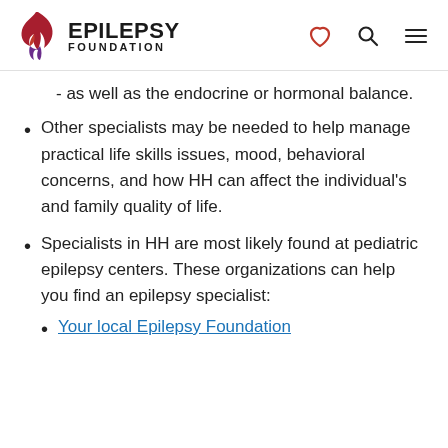EPILEPSY FOUNDATION
- as well as the endocrine or hormonal balance.
Other specialists may be needed to help manage practical life skills issues, mood, behavioral concerns, and how HH can affect the individual's and family quality of life.
Specialists in HH are most likely found at pediatric epilepsy centers. These organizations can help you find an epilepsy specialist:
Your local Epilepsy Foundation